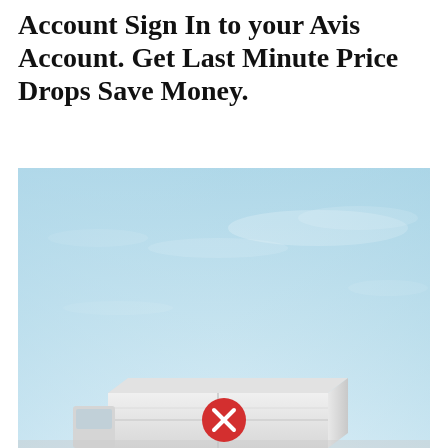Account Sign In to your Avis Account. Get Last Minute Price Drops Save Money.
[Figure (photo): A white box truck/van photographed against a light blue sky. A red circle with a white X (close button) is overlaid on the lower-center of the image.]